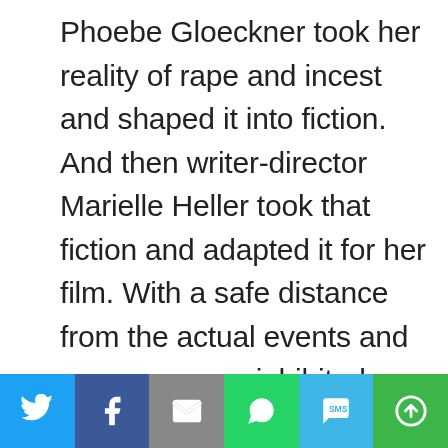Phoebe Gloeckner took her reality of rape and incest and shaped it into fiction. And then writer-director Marielle Heller took that fiction and adapted it for her film. With a safe distance from the actual events and persons, an uninhibited
[Figure (infographic): Social sharing toolbar with six buttons: Twitter (blue), Facebook (dark blue), Email (gray), WhatsApp (green), SMS (light blue), More (green)]